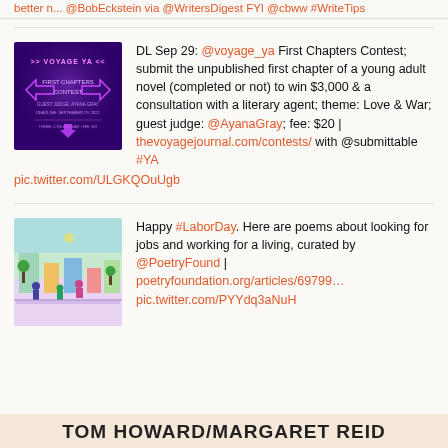better n... @BobEckstein via @WritersDigest FYI @cbww #WriteTips
DL Sep 29: @voyage_ya First Chapters Contest; submit the unpublished first chapter of a young adult novel (completed or not) to win $3,000 & a consultation with a literary agent; theme: Love & War; guest judge: @AyanaGray; fee: $20 | thevoyagejournal.com/contests/ with @submittable #YA pic.twitter.com/ULGKQOuUgb
[Figure (illustration): Dark purple promotional image for Voyage YA First Chapters Contest with pink arrow graphics and text overlay]
Happy #LaborDay. Here are poems about looking for jobs and working for a living, curated by @PoetryFound | poetryfoundation.org/articles/69799… pic.twitter.com/PYYdq3aNuH
[Figure (illustration): Colorful illustrated scene of urban street life with figures and buildings]
TOM HOWARD/MARGARET REID